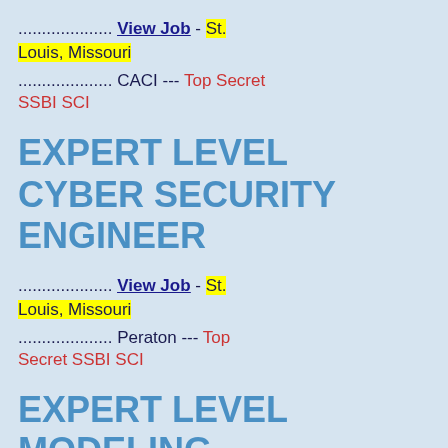.................... View Job - St. Louis, Missouri
.................... CACI --- Top Secret SSBI SCI
EXPERT LEVEL CYBER SECURITY ENGINEER
.................... View Job - St. Louis, Missouri
.................... Peraton --- Top Secret SSBI SCI
EXPERT LEVEL MODELING, SIMULATION AND ANALYSIS ENGINEER